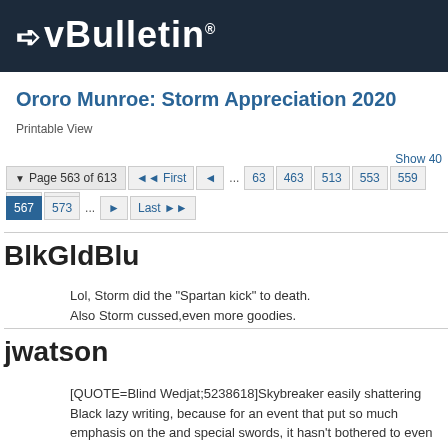vBulletin
Ororo Munroe: Storm Appreciation 2020
Printable View
Show 40
▼ Page 563 of 613  ◄◄ First  ◄  ...  63  463  513  553  559  560  561  567  573  ...  ►  Last ►►
BlkGldBlu
Lol, Storm did the "Spartan kick" to death.
Also Storm cussed,even more goodies.
jwatson
[QUOTE=Blind Wedjat;5238618]Skybreaker easily shattering Black lazy writing, because for an event that put so much emphasis on the and special swords, it hasn't bothered to even show what makes the matchups unique. It's almost like the writers can't handle Hickman's